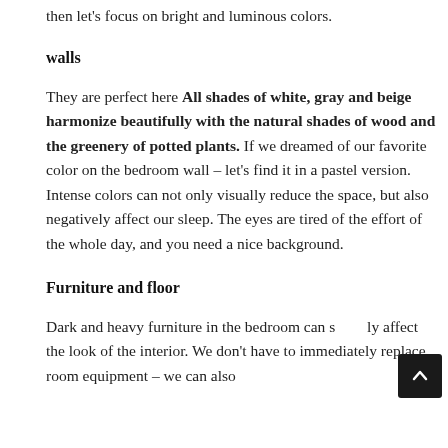then let's focus on bright and luminous colors.
walls
They are perfect here All shades of white, gray and beige harmonize beautifully with the natural shades of wood and the greenery of potted plants. If we dreamed of our favorite color on the bedroom wall – let's find it in a pastel version. Intense colors can not only visually reduce the space, but also negatively affect our sleep. The eyes are tired of the effort of the whole day, and you need a nice background.
Furniture and floor
Dark and heavy furniture in the bedroom can seriously affect the look of the interior. We don't have to immediately replace room equipment – we can also